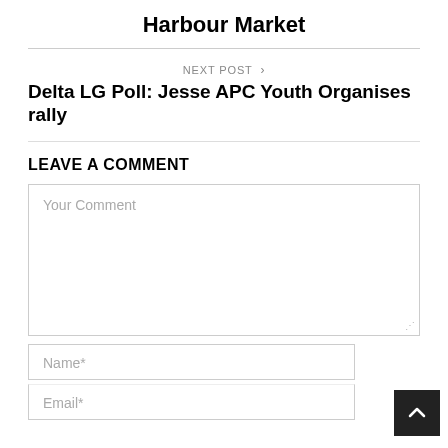Harbour Market
NEXT POST >
Delta LG Poll: Jesse APC Youth Organises rally
LEAVE A COMMENT
Your Comment
Name*
Email*